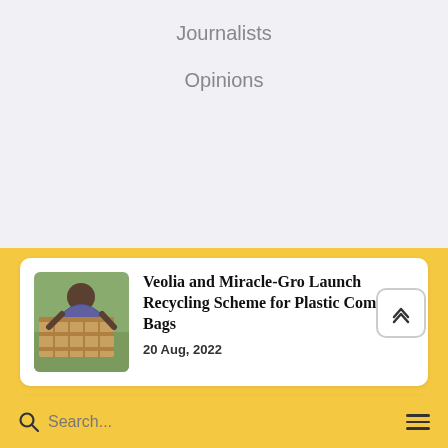Journalists
Opinions
Veolia and Miracle-Gro Launch Recycling Scheme for Plastic Compost Bags
20 Aug, 2022
Chapelton secures carbon neutral status with CarbonQuota
20 Aug, 2022
Search...